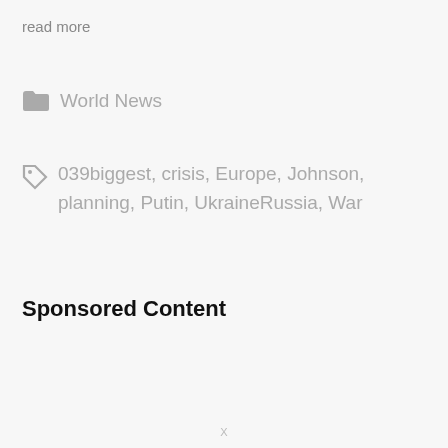read more
World News
039biggest, crisis, Europe, Johnson, planning, Putin, UkraineRussia, War
Sponsored Content
X